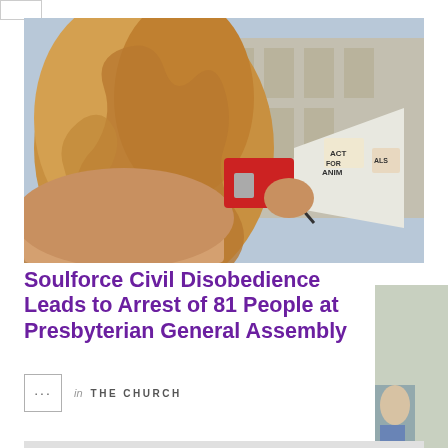[Figure (photo): Woman with curly hair seen from behind, holding a megaphone decorated with stickers at a protest, with a building in the background]
Soulforce Civil Disobedience Leads to Arrest of 81 People at Presbyterian General Assembly
in THE CHURCH